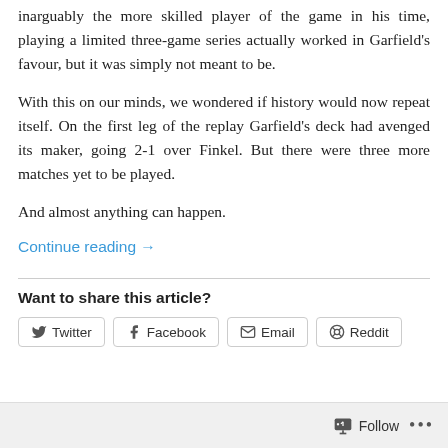inarguably the more skilled player of the game in his time, playing a limited three-game series actually worked in Garfield's favour, but it was simply not meant to be.
With this on our minds, we wondered if history would now repeat itself. On the first leg of the replay Garfield's deck had avenged its maker, going 2-1 over Finkel. But there were three more matches yet to be played.
And almost anything can happen.
Continue reading →
Want to share this article?
Twitter
Facebook
Email
Reddit
Follow  •••